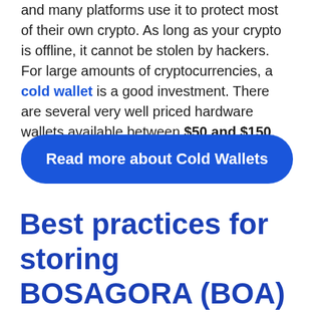and many platforms use it to protect most of their own crypto. As long as your crypto is offline, it cannot be stolen by hackers. For large amounts of cryptocurrencies, a cold wallet is a good investment. There are several very well priced hardware wallets available between $50 and $150.
Read more about Cold Wallets
Best practices for storing BOSAGORA (BOA)